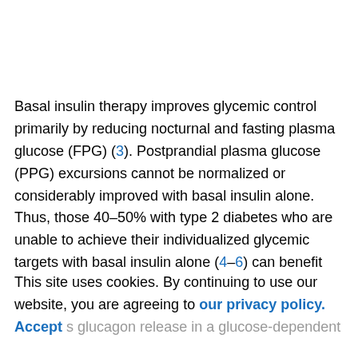Basal insulin therapy improves glycemic control primarily by reducing nocturnal and fasting plasma glucose (FPG) (3). Postprandial plasma glucose (PPG) excursions cannot be normalized or considerably improved with basal insulin alone. Thus, those 40–50% with type 2 diabetes who are unable to achieve their individualized glycemic targets with basal insulin alone (4–6) can benefit from the addition of PPG-lowering agents.
This site uses cookies. By continuing to use our website, you are agreeing to our privacy policy. Accept
s glucagon release in a glucose-dependent fashion, and show an improvement in composition and